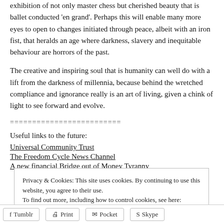exhibition of not only master chess but cherished beauty that is ballet conducted 'en grand'. Perhaps this will enable many more eyes to open to changes initiated through peace, albeit with an iron fist, that heralds an age where darkness, slavery and inequitable behaviour are horrors of the past.
The creative and inspiring soul that is humanity can well do with a lift from the darkness of millennia, because behind the wretched compliance and ignorance really is an art of living, given a chink of light to see forward and evolve.
=========================
Useful links to the future:
Universal Community Trust
The Freedom Cycle News Channel
A new financial Bridge out of Money Tyranny
Privacy & Cookies: This site uses cookies. By continuing to use this website, you agree to their use. To find out more, including how to control cookies, see here: Cookie Policy
Close and accept